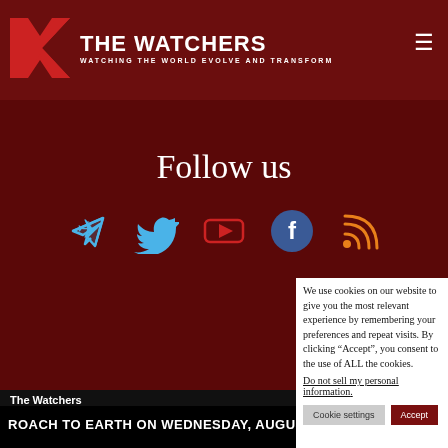THE WATCHERS — WATCHING THE WORLD EVOLVE AND TRANSFORM
Follow us
[Figure (infographic): Social media icons row: Telegram (blue paper plane), Twitter (blue bird), YouTube (red play button), Facebook (blue circle with f), RSS (orange signal icon)]
We use cookies on our website to give you the most relevant experience by remembering your preferences and repeat visits. By clicking “Accept”, you consent to the use of ALL the cookies.
Do not sell my personal information.
Cookie settings    Accept
The Watchers
Except where otherwise noted, content on this site is licensed under a Creativ
ROACH TO EARTH ON WEDNESDAY, AUGUST 31, 2022 AT 08: